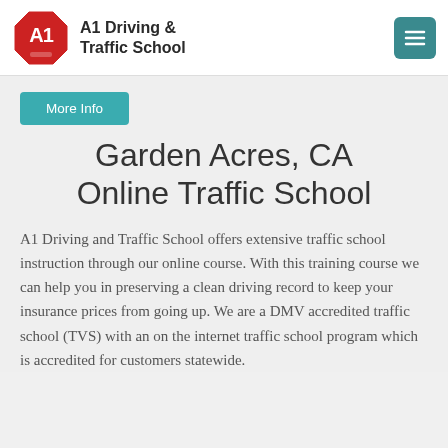[Figure (logo): A1 Driving & Traffic School logo: red octagon stop-sign shape with white 'A1' text inside]
A1 Driving & Traffic School
More Info
Garden Acres, CA Online Traffic School
A1 Driving and Traffic School offers extensive traffic school instruction through our online course. With this training course we can help you in preserving a clean driving record to keep your insurance prices from going up. We are a DMV accredited traffic school (TVS) with an on the internet traffic school program which is accredited for customers statewide.